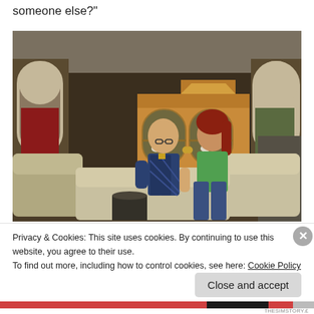someone else?"
[Figure (screenshot): Screenshot from The Sims 3 video game showing two Sim characters — a bald man in a blue plaid jacket and a woman with red hair in a green top — sitting on a cream couch in a living room with a wooden display cabinet in the background.]
Privacy & Cookies: This site uses cookies. By continuing to use this website, you agree to their use.
To find out more, including how to control cookies, see here: Cookie Policy
Close and accept